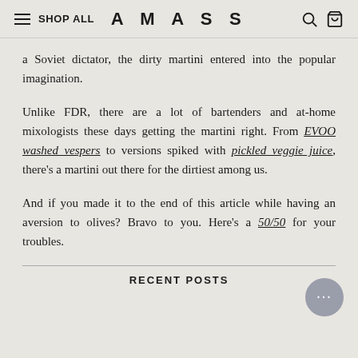SHOP ALL   AMASS
a Soviet dictator, the dirty martini entered into the popular imagination.
Unlike FDR, there are a lot of bartenders and at-home mixologists these days getting the martini right. From EVOO washed vespers to versions spiked with pickled veggie juice, there's a martini out there for the dirtiest among us.
And if you made it to the end of this article while having an aversion to olives? Bravo to you. Here's a 50/50 for your troubles.
RECENT POSTS